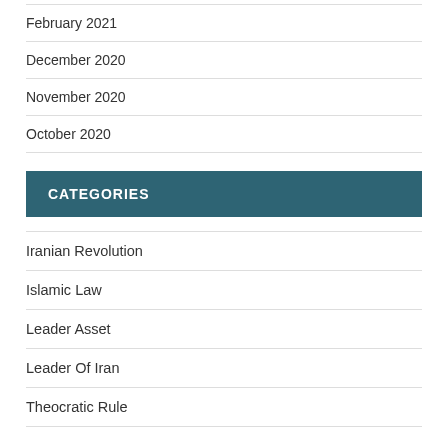February 2021
December 2020
November 2020
October 2020
CATEGORIES
Iranian Revolution
Islamic Law
Leader Asset
Leader Of Iran
Theocratic Rule